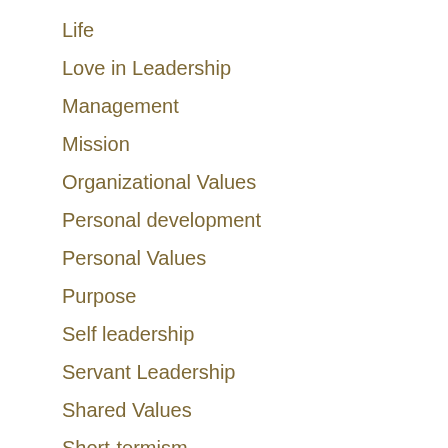Life
Love in Leadership
Management
Mission
Organizational Values
Personal development
Personal Values
Purpose
Self leadership
Servant Leadership
Shared Values
Short-termism
Social Entrepreneurship